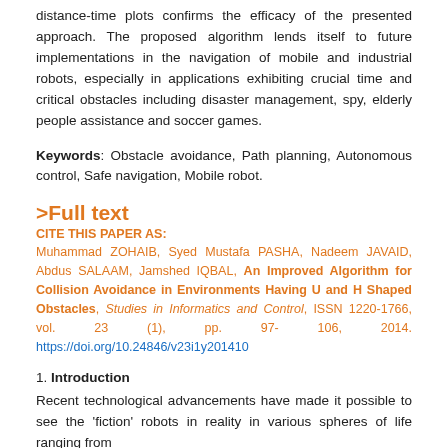distance-time plots confirms the efficacy of the presented approach. The proposed algorithm lends itself to future implementations in the navigation of mobile and industrial robots, especially in applications exhibiting crucial time and critical obstacles including disaster management, spy, elderly people assistance and soccer games.
Keywords: Obstacle avoidance, Path planning, Autonomous control, Safe navigation, Mobile robot.
>Full text
CITE THIS PAPER AS:
Muhammad ZOHAIB, Syed Mustafa PASHA, Nadeem JAVAID, Abdus SALAAM, Jamshed IQBAL, An Improved Algorithm for Collision Avoidance in Environments Having U and H Shaped Obstacles, Studies in Informatics and Control, ISSN 1220-1766, vol. 23 (1), pp. 97-106, 2014. https://doi.org/10.24846/v23i1y201410
1. Introduction
Recent technological advancements have made it possible to see the 'fiction' robots in reality in various spheres of life ranging from